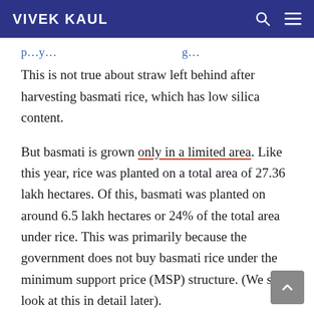VIVEK KAUL
...p...y... ...g...
This is not true about straw left behind after harvesting basmati rice, which has low silica content.
But basmati is grown only in a limited area. Like this year, rice was planted on a total area of 27.36 lakh hectares. Of this, basmati was planted on around 6.5 lakh hectares or 24% of the total area under rice. This was primarily because the government does not buy basmati rice under the minimum support price (MSP) structure. (We shall look at this in detail later).